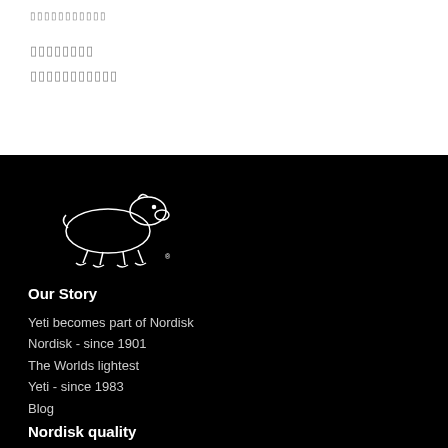▯▯▯▯▯▯▯▯▯▯▯
▯▯▯▯▯▯▯▯
▯▯▯▯▯▯▯▯▯▯▯
[Figure (logo): Nordisk polar bear logo in white on black background]
Our Story
Yeti becomes part of Nordisk
Nordisk - since 1901
The Worlds lightest
Yeti - since 1983
Blog
Nordisk quality